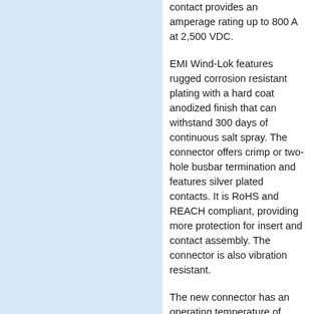[Figure (photo): Light blue rectangular panel occupying the left side of the page]
contact provides an amperage rating up to 800 A at 2,500 VDC.
EMI Wind-Lok features rugged corrosion resistant plating with a hard coat anodized finish that can withstand 300 days of continuous salt spray. The connector offers crimp or two-hole busbar termination and features silver plated contacts. It is RoHS and REACH compliant, providing more protection for insert and contact assembly. The connector is also vibration resistant.
The new connector has an operating temperature of -40˚C to +125˚C and can